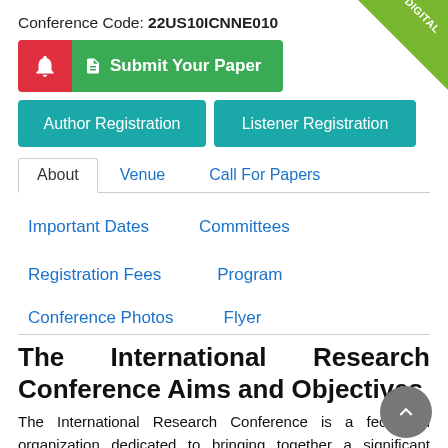Conference Code: 22US10ICNNE010
[Figure (illustration): Green diagonal DIGITAL badge in top right corner]
[Figure (screenshot): Red bell notification button and green Submit Your Paper button]
[Figure (screenshot): Teal Author Registration and Listener Registration buttons]
About   Venue   Call For Papers
Important Dates   Committees
Registration Fees   Program
Conference Photos   Flyer
The International Research Conference Aims and Objectives
The International Research Conference is a federated organization dedicated to bringing together a significant number of diverse scholarly events for presentation within the conference...